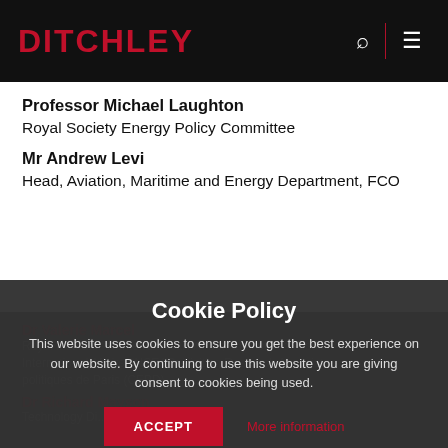DITCHLEY
Professor Michael Laughton
Royal Society Energy Policy Committee
Mr Andrew Levi
Head, Aviation, Maritime and Energy Department, FCO
Dr Valerie Marcel
Royal Institute for International Affairs; Adjunct Professor International Affairs, INSEAD; Visiting Research Associate, politiques de Paris (CEPD)
Dr Richard Mayson
Technology Director ...
Cookie Policy
This website uses cookies to ensure you get the best experience on our website. By continuing to use this website you are giving consent to cookies being used.
ACCEPT   More information